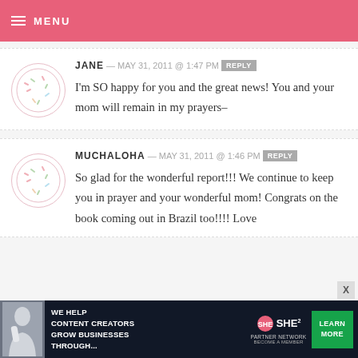MENU
JANE — MAY 31, 2011 @ 1:47 PM REPLY
I'm SO happy for you and the great news! You and your mom will remain in my prayers–
MUCHALOHA — MAY 31, 2011 @ 1:46 PM REPLY
So glad for the wonderful report!!! We continue to keep you in prayer and your wonderful mom! Congrats on the book coming out in Brazil too!!!! Love
[Figure (infographic): SHE Media partner network advertisement banner at bottom of page]